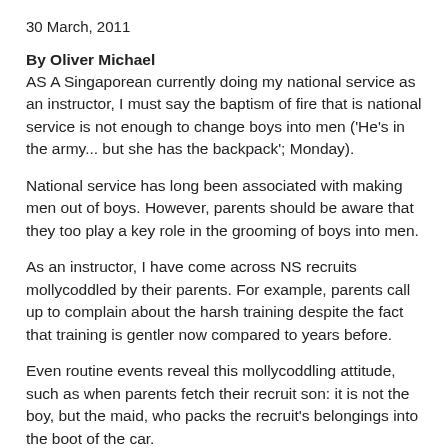30 March, 2011
By Oliver Michael
AS A Singaporean currently doing my national service as an instructor, I must say the baptism of fire that is national service is not enough to change boys into men ('He's in the army... but she has the backpack'; Monday).
National service has long been associated with making men out of boys. However, parents should be aware that they too play a key role in the grooming of boys into men.
As an instructor, I have come across NS recruits mollycoddled by their parents. For example, parents call up to complain about the harsh training despite the fact that training is gentler now compared to years before.
Even routine events reveal this mollycoddling attitude, such as when parents fetch their recruit son: it is not the boy, but the maid, who packs the recruit's belongings into the boot of the car.